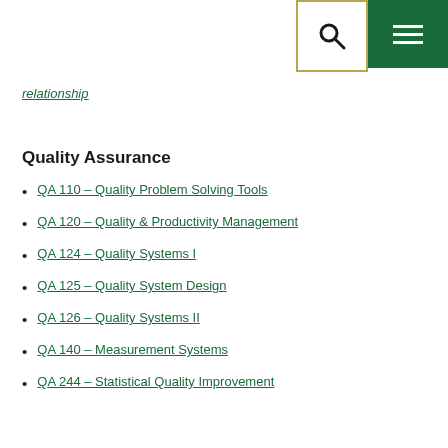[Search and Menu buttons]
relationship
Quality Assurance
QA 110 - Quality Problem Solving Tools
QA 120 - Quality & Productivity Management
QA 124 - Quality Systems I
QA 125 - Quality System Design
QA 126 - Quality Systems II
QA 140 - Measurement Systems
QA 244 - Statistical Quality Improvement